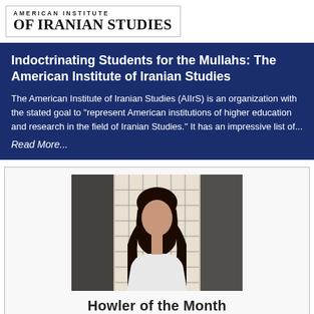[Figure (logo): American Institute of Iranian Studies logo with text 'AMERICAN INSTITUTE OF IRANIAN STUDIES']
Indoctrinating Students for the Mullahs: The American Institute of Iranian Studies
The American Institute of Iranian Studies (AIIrS) is an organization with the stated goal to "represent American institutions of higher education and research in the field of Iranian Studies." It has an impressive list of...
Read More...
[Figure (photo): Photo of a woman with dark hair wearing a white top, seated in front of a grid-patterned screen or window]
Howler of the Month